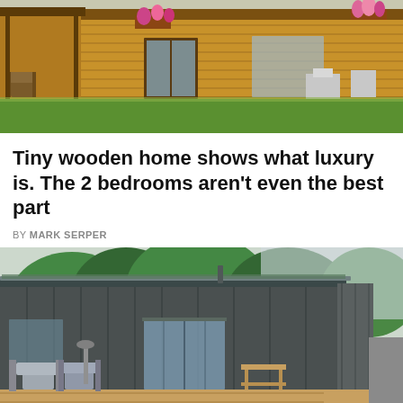[Figure (photo): Exterior of a tiny wooden home with timber cladding, flower boxes, a small porch with chairs, and green lawn in front.]
Tiny wooden home shows what luxury is. The 2 bedrooms aren't even the best part
BY MARK SERPER
[Figure (photo): Dark grey shipping container home converted into a modern dwelling, with a wooden deck, outdoor chairs, glass sliding doors, and trees in the background.]